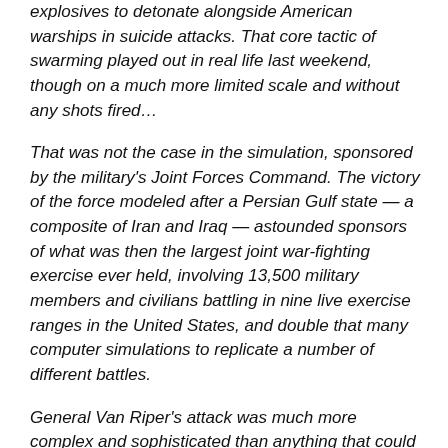explosives to detonate alongside American warships in suicide attacks. That core tactic of swarming played out in real life last weekend, though on a much more limited scale and without any shots fired…
That was not the case in the simulation, sponsored by the military's Joint Forces Command. The victory of the force modeled after a Persian Gulf state — a composite of Iran and Iraq — astounded sponsors of what was then the largest joint war-fighting exercise ever held, involving 13,500 military members and civilians battling in nine live exercise ranges in the United States, and double that many computer simulations to replicate a number of different battles.
General Van Riper's attack was much more complex and sophisticated than anything that could have involved the